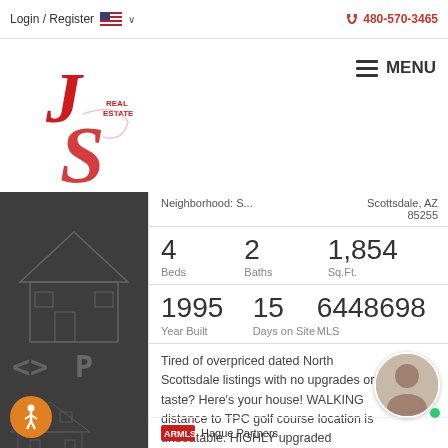Login / Register   🇺🇸 ∨   📞 480-570-3465
[Figure (logo): JS Real Estate logo with stylized red J and S letters]
☰ MENU
Neighborhood: S...   Scottsdale, AZ 85255
| Beds | Baths | Sq.Ft. |
| --- | --- | --- |
| 4 | 2 | 1,854 |
| Year Built | Days on Site | MLS |
| --- | --- | --- |
| 1995 | 15 | 6448698 |
Tired of overpriced dated North Scottsdale listings with no upgrades or taste? Here's your house! WALKING distance to TPC golf course location is unbeatable. HIGHLY upgraded tastefully done with...
Hague Partners